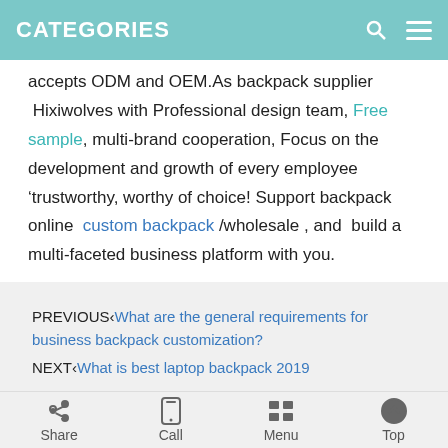CATEGORIES
accepts ODM and OEM.As backpack supplier  Hixiwolves with Professional design team, Free sample, multi-brand cooperation, Focus on the development and growth of every employee ‘trustworthy, worthy of choice! Support backpack online  custom backpack /wholesale , and  build a multi-faceted business platform with you.
PREVIOUS‹What are the general requirements for business backpack customization?
NEXT‹What is best laptop backpack 2019
Related News